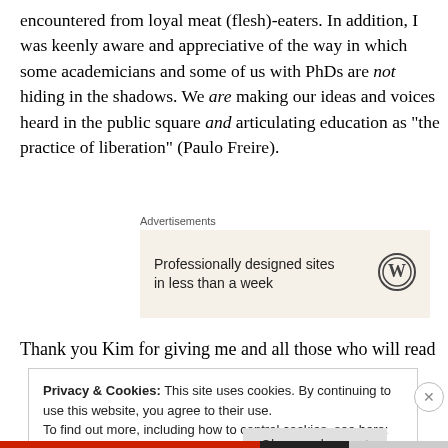encountered from loyal meat (flesh)-eaters. In addition, I was keenly aware and appreciative of the way in which some academicians and some of us with PhDs are not hiding in the shadows. We are making our ideas and voices heard in the public square and articulating education as “the practice of liberation” (Paulo Freire).
[Figure (other): WordPress advertisement banner with text 'Professionally designed sites in less than a week' and WordPress logo on beige background, labeled 'Advertisements']
Thank you Kim for giving me and all those who will read
Privacy & Cookies: This site uses cookies. By continuing to use this website, you agree to their use.
To find out more, including how to control cookies, see here: Cookie Policy